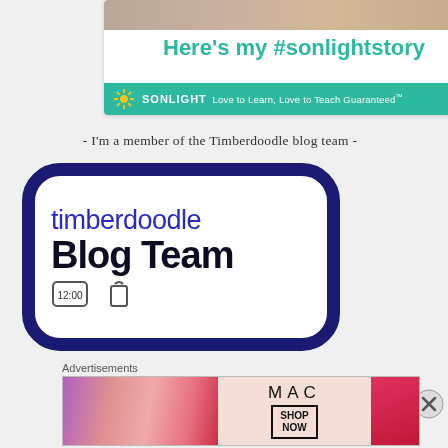[Figure (illustration): Sonlight promotional banner with photo at top, 'Here's my #sonlightstory' headline in teal, and teal bar with Sonlight logo and tagline 'Love to Learn, Love to Teach Guaranteed™']
- I'm a member of the Timberdoodle blog team -
[Figure (logo): Timberdoodle Blog Team badge: rounded rectangle with dark navy border, 'timberdoodle' in blue and 'Blog Team' in bold dark text, with small clock and lanyard icons at bottom]
[Figure (illustration): Close/dismiss button (X in circle) on right side]
Advertisements
[Figure (illustration): MAC cosmetics advertisement banner with colorful lipsticks on left, MAC logo in center, SHOP NOW button, and red lipstick on right]